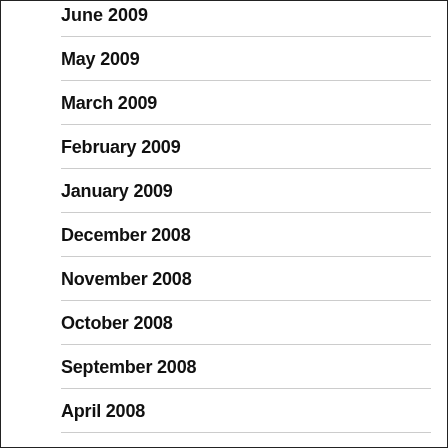May 2009
March 2009
February 2009
January 2009
December 2008
November 2008
October 2008
September 2008
April 2008
March 2008